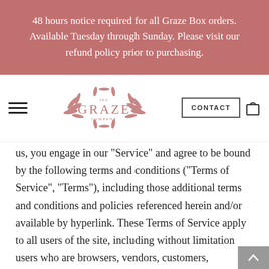48 hours notice required for all Graze Box orders. Available Tuesday through Sunday. Please visit our refund policy prior to purchasing.
[Figure (logo): The Graze Company logo with botanical leaf wreath and GRAZE wordmark in dusty rose. Navigation bar with hamburger menu, CONTACT button, and shopping bag icon.]
us, you engage in our "Service" and agree to be bound by the following terms and conditions ("Terms of Service", "Terms"), including those additional terms and conditions and policies referenced herein and/or available by hyperlink. These Terms of Service apply to all users of the site, including without limitation users who are browsers, vendors, customers, merchants, and/or